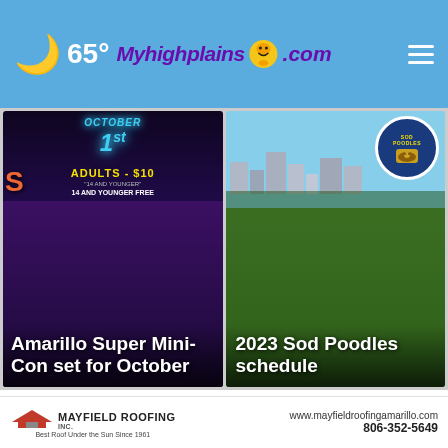65° Myhighplains.com
[Figure (screenshot): News card: Amarillo Super Mini-Con set for October — dark purple background with 'OCTOBER 1st' neon text, 'ADULTS - $10' in yellow]
[Figure (screenshot): News card: 2023 Sod Poodles schedule — baseball stadium aerial photo with Sod Poodles logo circle]
Top Stories ›
[Figure (screenshot): Ad banner: CIERRA TOWING & CRUSHING LLC — purple and gold background with close X button]
[Figure (logo): Mayfield Roofing Inc. logo with red roof graphic, www.mayfieldroofingamarillo.com, 806-352-5649, Best Roof Under the Sun Since 1961]